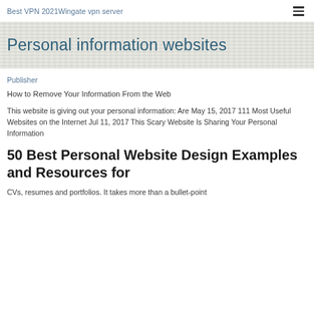Best VPN 2021Wingate vpn server
Personal information websites
Publisher
How to Remove Your Information From the Web
This website is giving out your personal information: Are May 15, 2017 111 Most Useful Websites on the Internet Jul 11, 2017 This Scary Website Is Sharing Your Personal Information
50 Best Personal Website Design Examples and Resources for
CVs, resumes and portfolios. It takes more than a bullet-point